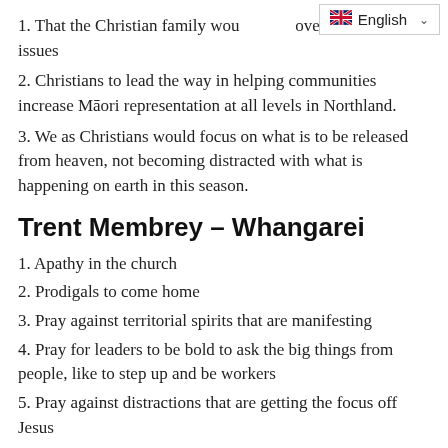1. That the Christian family wou[ld unite] over Covid 19 issues
2. Christians to lead the way in helping communities increase Māori representation at all levels in Northland.
3. We as Christians would focus on what is to be released from heaven, not becoming distracted with what is happening on earth in this season.
Trent Membrey – Whangarei
1. Apathy in the church
2. Prodigals to come home
3. Pray against territorial spirits that are manifesting
4. Pray for leaders to be bold to ask the big things from people, like to step up and be workers
5. Pray against distractions that are getting the focus off Jesus
6. Pray for the men to take their place